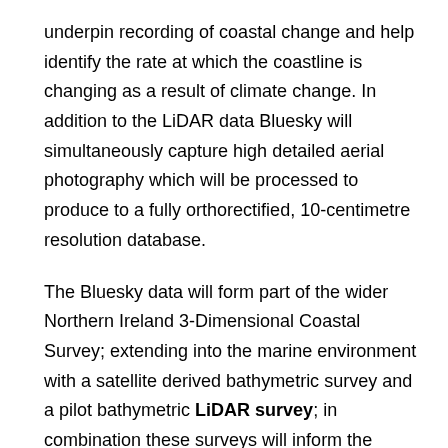underpin recording of coastal change and help identify the rate at which the coastline is changing as a result of climate change. In addition to the LiDAR data Bluesky will simultaneously capture high detailed aerial photography which will be processed to produce to a fully orthorectified, 10-centimetre resolution database.
The Bluesky data will form part of the wider Northern Ireland 3-Dimensional Coastal Survey; extending into the marine environment with a satellite derived bathymetric survey and a pilot bathymetric LiDAR survey; in combination these surveys will inform the development of future coastal management policies.
“The Northern Ireland coast is a hugely valuable resource which is currently facing increasing pressure from climate change,” commented Dr Joanne Hanna, Senior Scientific